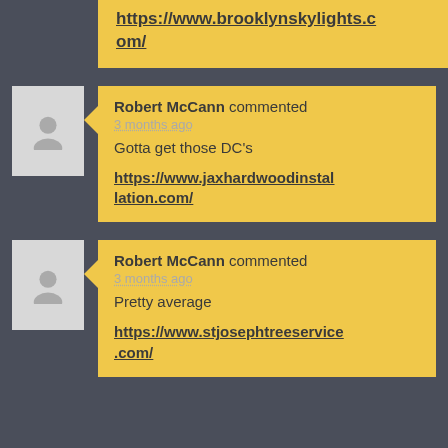https://www.brooklynskylights.com/
Robert McCann commented 3 months ago
Gotta get those DC's
https://www.jaxhardwoodinstallation.com/
Robert McCann commented 3 months ago
Pretty average
https://www.stjosephtreeservice.com/